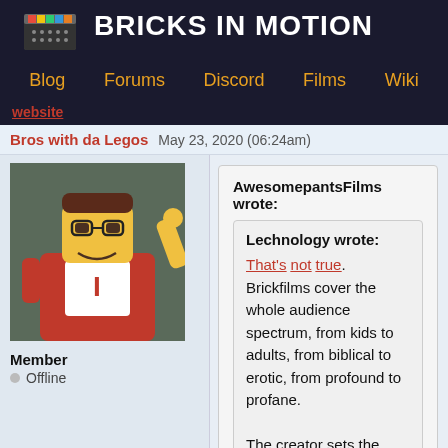BRICKS IN MOTION
Blog  Forums  Discord  Films  Wiki
Bros with da Legos  May 23, 2020 (06:24am)
[Figure (photo): Avatar photo of a LEGO minifigure with a red cape and letter I on chest, raising one arm]
Member
Offline
AwesomepantsFilms wrote:
Lechnology wrote:
That's not true.  Brickfilms cover the whole audience spectrum, from kids to adults, from biblical to erotic, from profound to profane.

The creator sets the intended audience.
May you direct me to the erotic category